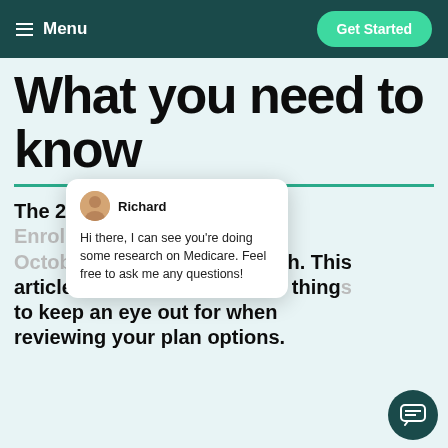Menu | Get Started
What you need to know
The 2022 Medicare Annual Enrollment Period runs from October 15th to December 7th. This article will highlight the keys things to keep an eye out for when reviewing your plan options.
[Figure (screenshot): Chat popup from agent named Richard saying: Hi there, I can see you're doing some research on Medicare. Feel free to ask me any questions!]